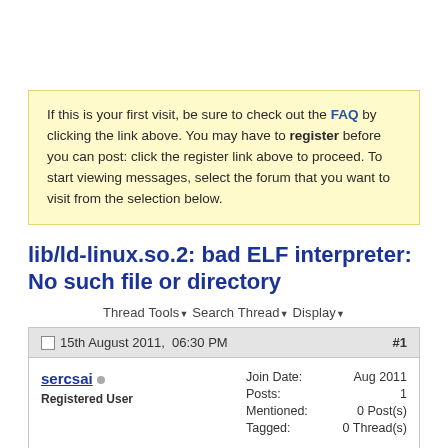If this is your first visit, be sure to check out the FAQ by clicking the link above. You may have to register before you can post: click the register link above to proceed. To start viewing messages, select the forum that you want to visit from the selection below.
lib/ld-linux.so.2: bad ELF interpreter: No such file or directory
Thread Tools  Search Thread  Display
15th August 2011,  06:30 PM  #1
sercsai  Registered User
Join Date: Aug 2011
Posts: 1
Mentioned: 0 Post(s)
Tagged: 0 Thread(s)
i got this error in fedora 13 64 bit lib/ld-linux.so.2: bad ELF interpreter: No such file or directory.how can i fix